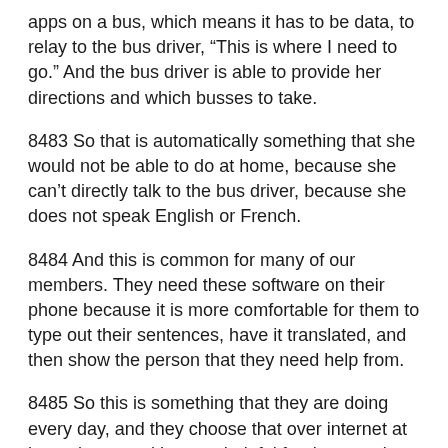apps on a bus, which means it has to be data, to relay to the bus driver, “This is where I need to go.” And the bus driver is able to provide her directions and which busses to take.
8483 So that is automatically something that she would not be able to do at home, because she can’t directly talk to the bus driver, because she does not speak English or French.
8484 And this is common for many of our members. They need these software on their phone because it is more comfortable for them to type out their sentences, have it translated, and then show the person that they need help from.
8485 So this is something that they are doing every day, and they choose that over internet at home because it’s more helpful for them getting around the city, it’s more helpful for them to get what they need while they’re on the go, because it helps them stay in communication with